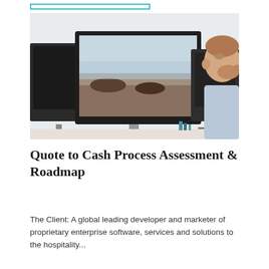[Figure (photo): A man sitting at a desk with multiple computer monitors in an office environment, viewed from a side angle.]
Quote to Cash Process Assessment & Roadmap
The Client: A global leading developer and marketer of proprietary enterprise software, services and solutions to the hospitality...